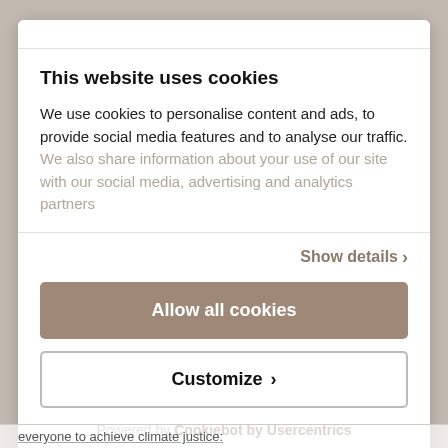This website uses cookies
We use cookies to personalise content and ads, to provide social media features and to analyse our traffic. We also share information about your use of our site with our social media, advertising and analytics partners
Show details ›
Allow all cookies
Customize ›
Powered by Cookiebot by Usercentrics
everyone to achieve climate justice: